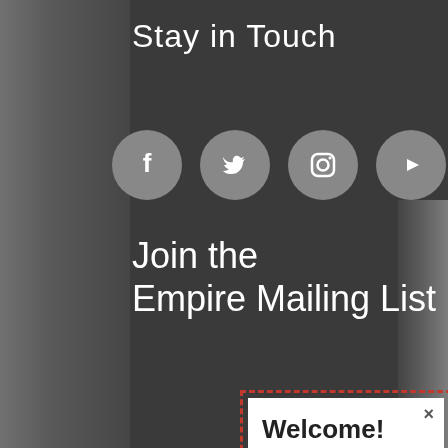Stay in Touch
[Figure (illustration): Four social media icons (Facebook, Twitter, Instagram, YouTube) displayed as white symbols on grey circular backgrounds]
Join the Empire Mailing List
First Na[me]
Last Na[me]
Email ad[dress]
[Figure (screenshot): Popup modal with dashed red border containing: close button (x), heading 'Welcome!', body text 'Join to our newsletter to learn more about important news, events, classes and promotions!', and a red 'Subscribe' link]
Welcome!
Join to our newsletter to learn more about important news, events, classes and promotions!
Subscribe